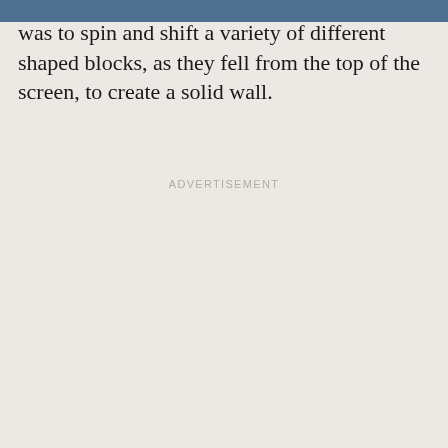was to spin and shift a variety of different shaped blocks, as they fell from the top of the screen, to create a solid wall.
ADVERTISEMENT